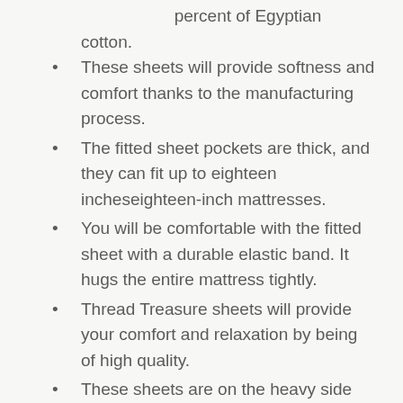percent of Egyptian cotton.
These sheets will provide softness and comfort thanks to the manufacturing process.
The fitted sheet pockets are thick, and they can fit up to eighteen incheseighteen-inch mattresses.
You will be comfortable with the fitted sheet with a durable elastic band. It hugs the entire mattress tightly.
Thread Treasure sheets will provide your comfort and relaxation by being of high quality.
These sheets are on the heavy side and perfect for thick mattresses.
Conclusion